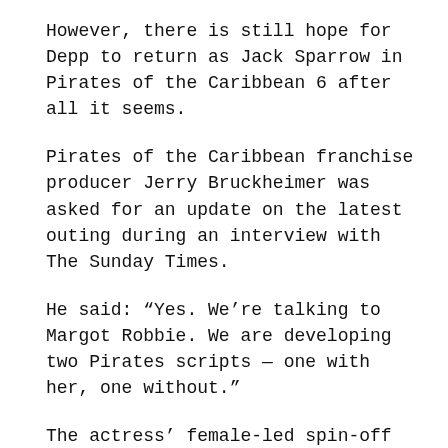However, there is still hope for Depp to return as Jack Sparrow in Pirates of the Caribbean 6 after all it seems.
Pirates of the Caribbean franchise producer Jerry Bruckheimer was asked for an update on the latest outing during an interview with The Sunday Times.
He said: “Yes. We’re talking to Margot Robbie. We are developing two Pirates scripts — one with her, one without.”
The actress’ female-led spin-off has been in the works for quite some time, while Jerry won’t close the door on Depp reprising Jack Sparrow.
Asked if the star could return for Pirates 6, he replied: “Not at this point. The future is yet to be decided.”